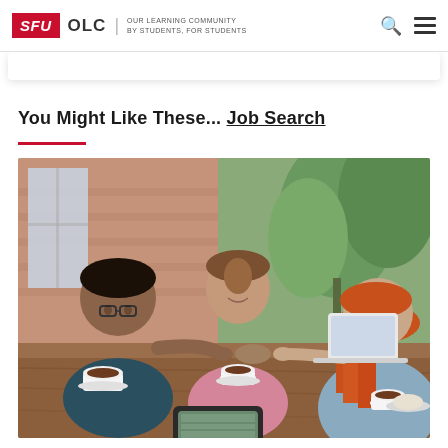SFU OLC | OUR LEARNING COMMUNITY BY STUDENTS, FOR STUDENTS
You Might Like These... Job Search
[Figure (photo): Three people sitting around a wooden table in a casual meeting setting. A man with glasses in a dark shirt and a woman in a pink blazer are on one side, shaking hands with a woman with red hair across the table. There are coffee cups, a tablet, and a laptop on the table. Plants and brick wall visible in background.]